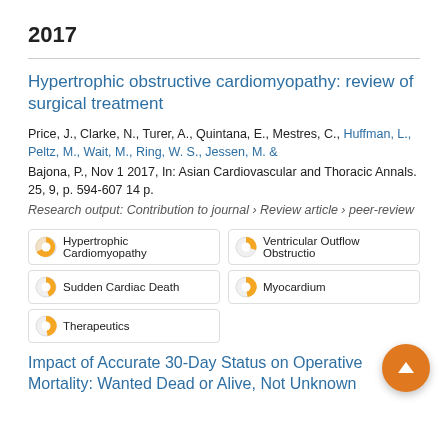2017
Hypertrophic obstructive cardiomyopathy: review of surgical treatment
Price, J., Clarke, N., Turer, A., Quintana, E., Mestres, C., Huffman, L., Peltz, M., Wait, M., Ring, W. S., Jessen, M. & Bajona, P., Nov 1 2017, In: Asian Cardiovascular and Thoracic Annals. 25, 9, p. 594-607 14 p.
Research output: Contribution to journal › Review article › peer-review
Hypertrophic Cardiomyopathy | Ventricular Outflow Obstructio | Sudden Cardiac Death | Myocardium | Therapeutics
Impact of Accurate 30-Day Status on Operative Mortality: Wanted Dead or Alive, Not Unknown